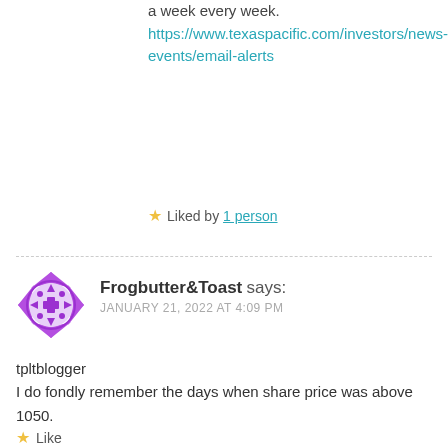Sign up here and get $TPLT buy alerts. 100 shares a week every week. https://www.texaspacific.com/investors/news-events/email-alerts
★ Liked by 1 person
Frogbutter&Toast says: JANUARY 21, 2022 AT 4:09 PM
tpltblogger
I do fondly remember the days when share price was above 1050.

those were good times indeed..........
★ Like